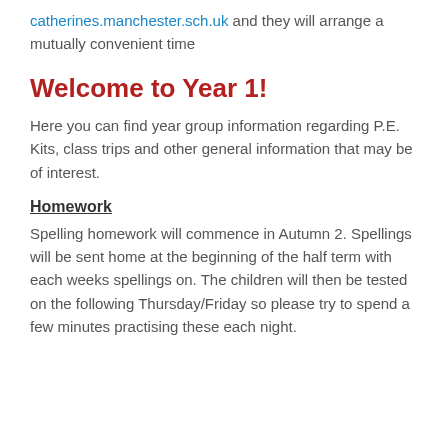catherines.manchester.sch.uk and they will arrange a mutually convenient time
Welcome to Year 1!
Here you can find year group information regarding P.E. Kits, class trips and other general information that may be of interest.
Homework
Spelling homework will commence in Autumn 2. Spellings will be sent home at the beginning of the half term with each weeks spellings on. The children will then be tested on the following Thursday/Friday so please try to spend a few minutes practising these each night.